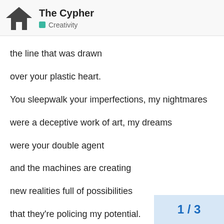The Cypher | Creativity
the line that was drawn
over your plastic heart.
You sleepwalk your imperfections, my nightmares
were a deceptive work of art, my dreams
were your double agent
and the machines are creating
new realities full of possibilities
that they're policing my potential.
And I'm trapped like an imposter
in a broken institution
for conditions of deception; instructed by the
machinations who rule over this nation
this fabrication; obsolete solutions,
poetry could not describe
This was not a war to celebrate; so dress up
your psychic whores and demonstrate
you could not relate to me
1 / 3